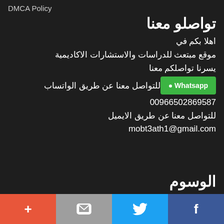DMCA Policy
تواصلو معنا
اهلا بكم في
موقع مبتعث للدراسات والاستشارات الاكاديمية
يسرنا تواصلكم معنا
للتواصل معنا عن طريق الواتساب
Whatsapp
00966502869587
للتواصل معنا عن طريق الايميل
mobt3ath1@gmail.com
الوسوم
f  Twitter  Email  +